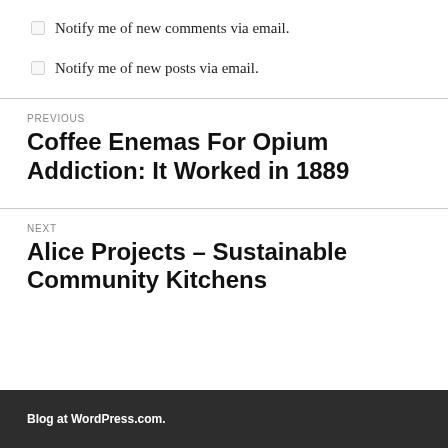Notify me of new comments via email.
Notify me of new posts via email.
PREVIOUS
Coffee Enemas For Opium Addiction: It Worked in 1889
NEXT
Alice Projects – Sustainable Community Kitchens
Blog at WordPress.com.